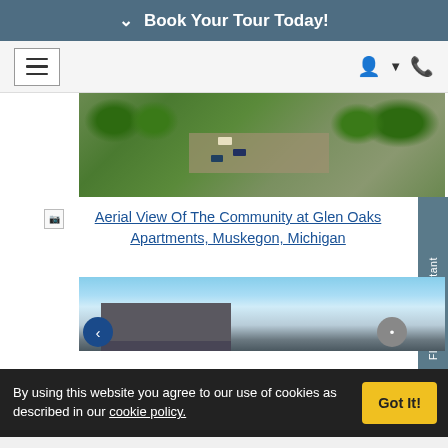Book Your Tour Today!
[Figure (photo): Aerial view of Glen Oaks Apartments community, Muskegon, Michigan — parking lot with cars surrounded by green trees]
Aerial View Of The Community at Glen Oaks Apartments, Muskegon, Michigan
[Figure (photo): Ground-level or low-angle photo of the Glen Oaks Apartments building exterior against a blue sky]
By using this website you agree to our use of cookies as described in our cookie policy.